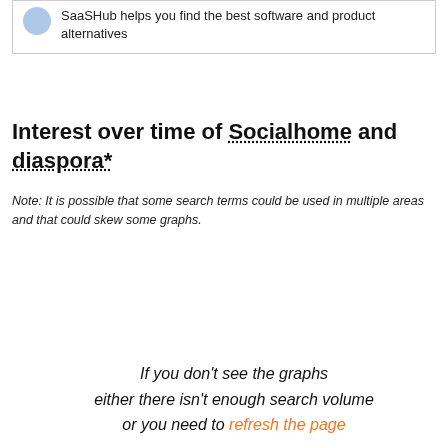[Figure (logo): SaaSHub logo icon (blue circular icon) with text: SaaSHub helps you find the best software and product alternatives]
Interest over time of Socialhome and diaspora*
Note: It is possible that some search terms could be used in multiple areas and that could skew some graphs.
If you don't see the graphs either there isn't enough search volume or you need to refresh the page